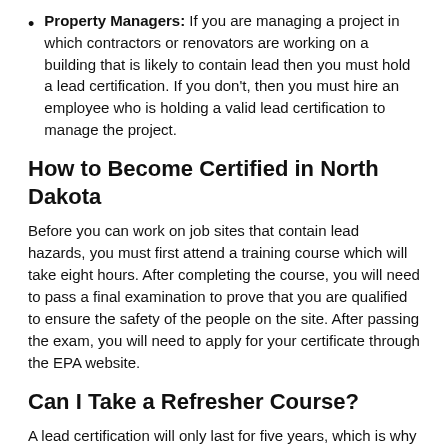Property Managers: If you are managing a project in which contractors or renovators are working on a building that is likely to contain lead then you must hold a lead certification. If you don't, then you must hire an employee who is holding a valid lead certification to manage the project.
How to Become Certified in North Dakota
Before you can work on job sites that contain lead hazards, you must first attend a training course which will take eight hours. After completing the course, you will need to pass a final examination to prove that you are qualified to ensure the safety of the people on the site. After passing the exam, you will need to apply for your certificate through the EPA website.
Can I Take a Refresher Course?
A lead certification will only last for five years, which is why it's important to renew your certificate if you want to continue working on lead hazard jobs sites. If you fail to renew your certificate before it expires, then the...